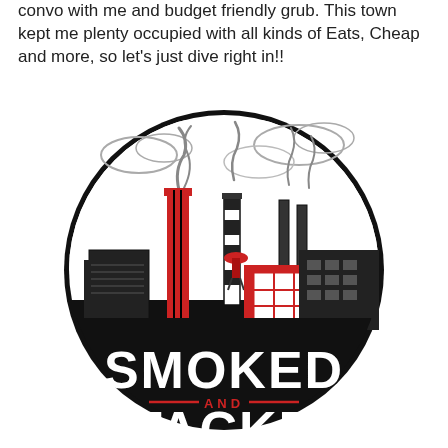convo with me and budget friendly grub. This town kept me plenty occupied with all kinds of Eats, Cheap and more, so let's just dive right in!!
[Figure (logo): Smoked and Stacked restaurant logo — circular badge with industrial factory/smokestacks illustration in black, white and red, with 'SMOKED' in large white block letters and 'AND' in red and 'STACKED' partially visible at bottom, all on black arc background.]